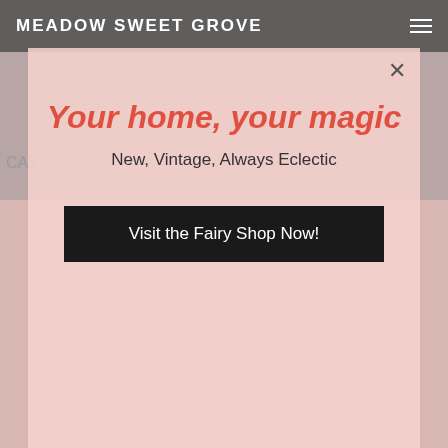MEADOW SWEET GROVE
[Figure (screenshot): Website screenshot showing a product page for Meadow Sweet Grove with a blurred pinkish background featuring floral/tableware imagery]
CA$19.99
Your home, your magic
New, Vintage, Always Eclectic
Visit the Fairy Shop Now!